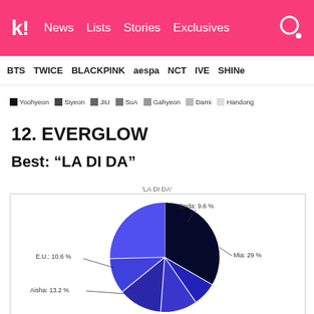k! News | Lists | Stories | Exclusives
BTS  TWICE  BLACKPINK  aespa  NCT  IVE  SHINee
[Figure (other): Legend with color swatches: Yoohyeon (black), Siyeon (dark gray), JiU (medium dark gray), SuA (medium gray), Gahyeon (gray), Dami (light gray), Handong (very light gray). Watermark: reta-chart.com]
12. EVERGLOW
Best: “LA DI DA”
'LA DI DA'
[Figure (pie-chart): 'LA DI DA']